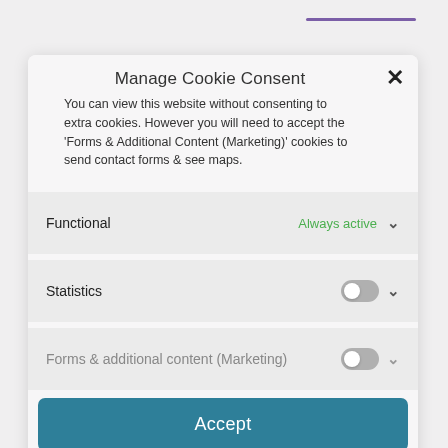Manage Cookie Consent
You can view this website without consenting to extra cookies. However you will need to accept the 'Forms & Additional Content (Marketing)' cookies to send contact forms & see maps.
Functional   Always active
Statistics
Forms & additional content (Marketing)
Accept
Reject
Save preferences